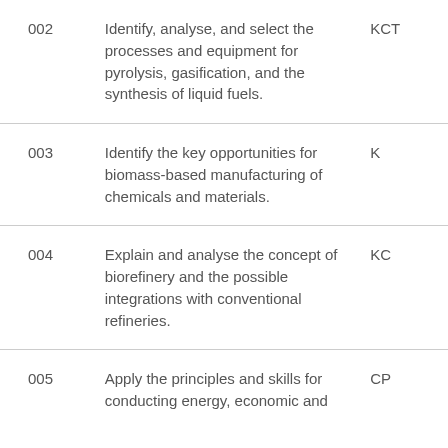| Code | Description | Type |
| --- | --- | --- |
| 002 | Identify, analyse, and select the processes and equipment for pyrolysis, gasification, and the synthesis of liquid fuels. | KCT |
| 003 | Identify the key opportunities for biomass-based manufacturing of chemicals and materials. | K |
| 004 | Explain and analyse the concept of biorefinery and the possible integrations with conventional refineries. | KC |
| 005 | Apply the principles and skills for conducting energy, economic and | CP |